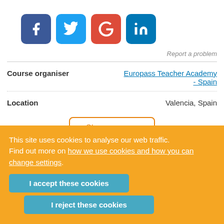[Figure (other): Social media share buttons: Facebook (blue), Twitter (light blue), Google+ (red), LinkedIn (dark blue)]
Report a problem
|  |  |
| --- | --- |
| Course organiser | Europass Teacher Academy - Spain |
| Location | Valencia, Spain |
Show more
This site uses cookies to analyse our web traffic. Find out more on how we use cookies and how you can change settings.
I accept these cookies
I reject these cookies